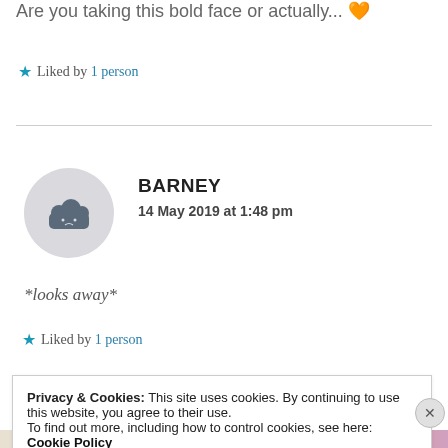Are you taking this bold face or actually... 🧡
★ Liked by 1 person
BARNEY
14 May 2019 at 1:48 pm
*looks away*
★ Liked by 1 person
Privacy & Cookies: This site uses cookies. By continuing to use this website, you agree to their use.
To find out more, including how to control cookies, see here: Cookie Policy
Close and accept